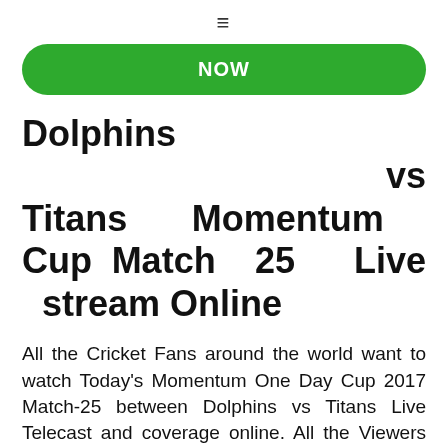≡
[Figure (other): Green rounded button showing 'NOW' text]
Dolphins vs Titans Momentum Cup Match 25 Live stream Online
All the Cricket Fans around the world want to watch Today's Momentum One Day Cup 2017 Match-25 between Dolphins vs Titans Live Telecast and coverage online. All the Viewers may enjoy this Momentum One Day Cup